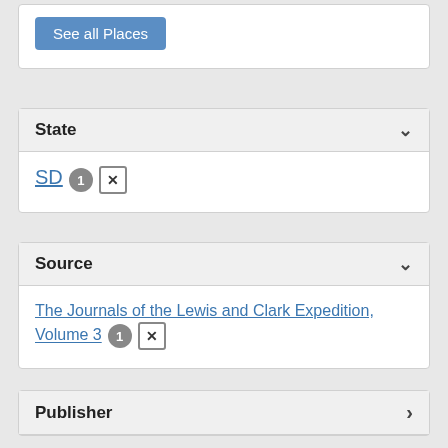See all Places
State
SD 1 ×
Source
The Journals of the Lewis and Clark Expedition, Volume 3 1 ×
Publisher